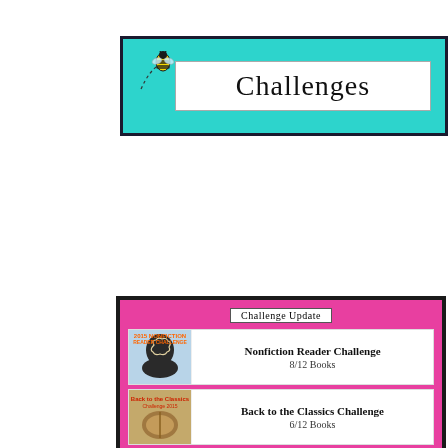Challenges
Challenge Update
Nonfiction Reader Challenge
8/12 Books
Back to the Classics Challenge
6/12 Books
Books in Translation Challenge
7/12 Books
Japanese Literature Challenge
8/8 Books (Complete)
Diversity Challenge